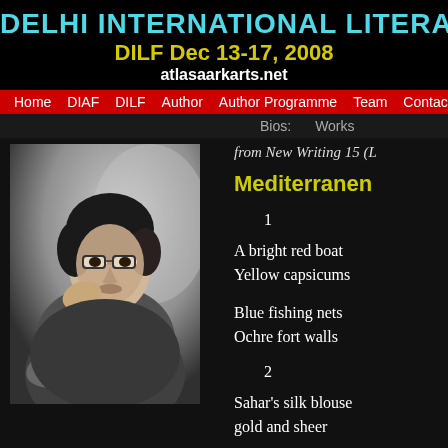DELHI INTERNATIONAL LITERARY FI
DILF Dec 13-17, 2008
atlasaarkarts.net
Home  DIAF  DILF  Author  Author Programme  Team  Contact  FAQ  Atlas
Bios:  Works
[Figure (photo): Black and white photo of a young man with glasses, resting his chin on his hand in a contemplative pose]
from New Writing 15 (L
Mediterranen
1
A bright red boat
Yellow capsicums
Blue fishing nets
Ochre fort walls
2
Sahar's silk blouse
gold and sheer
Her dark black